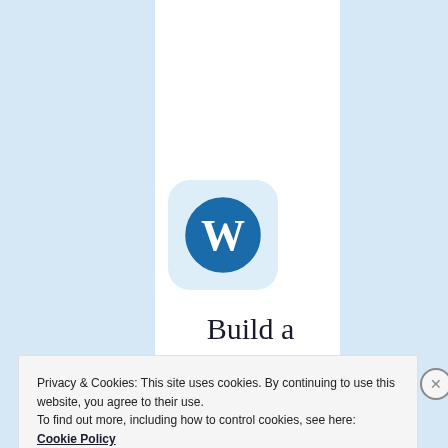[Figure (logo): WordPress logo — blue W in a circle on a light blue rounded-square background]
Build a writing
Privacy & Cookies: This site uses cookies. By continuing to use this website, you agree to their use.
To find out more, including how to control cookies, see here: Cookie Policy
Close and accept